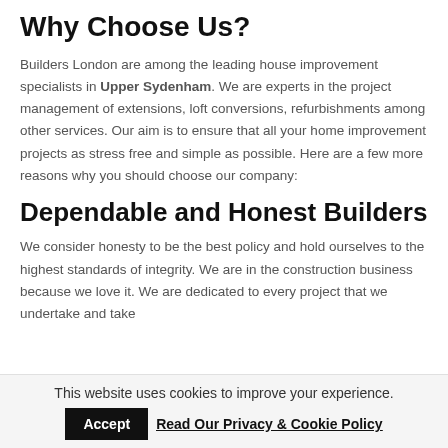Why Choose Us?
Builders London are among the leading house improvement specialists in Upper Sydenham. We are experts in the project management of extensions, loft conversions, refurbishments among other services. Our aim is to ensure that all your home improvement projects as stress free and simple as possible. Here are a few more reasons why you should choose our company:
Dependable and Honest Builders
We consider honesty to be the best policy and hold ourselves to the highest standards of integrity. We are in the construction business because we love it. We are dedicated to every project that we undertake and take
This website uses cookies to improve your experience. Accept  Read Our Privacy & Cookie Policy